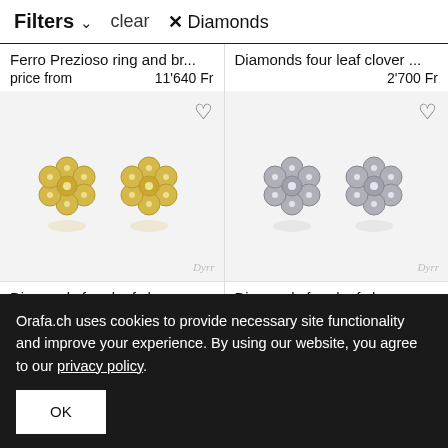Filters ∨   clear   ✕ Diamonds
Ferro Prezioso ring and br...
price from   11'640 Fr
[Figure (photo): Two gold diamond flower earrings on light background with heart wishlist icon and Dyrr watermark]
Diamonds four leaf clover ...
2'700 Fr
[Figure (photo): Two silver/white gold diamond flower earrings on light background with heart wishlist icon and Dyrr watermark]
Diamonds four leaf clover ...
Diamonds four leaf clover ...
Orafa.ch uses cookies to provide necessary site functionality and improve your experience. By using our website, you agree to our privacy policy.
OK